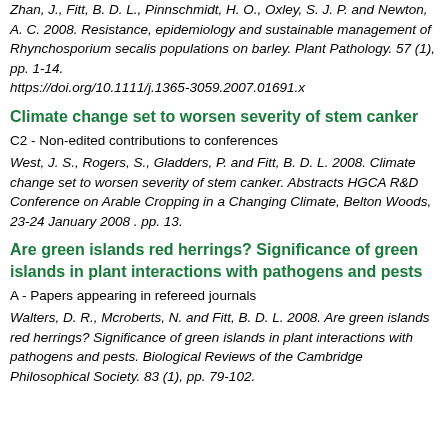Zhan, J., Fitt, B. D. L., Pinnschmidt, H. O., Oxley, S. J. P. and Newton, A. C. 2008. Resistance, epidemiology and sustainable management of Rhynchosporium secalis populations on barley. Plant Pathology. 57 (1), pp. 1-14. https://doi.org/10.1111/j.1365-3059.2007.01691.x
Climate change set to worsen severity of stem canker
C2 - Non-edited contributions to conferences
West, J. S., Rogers, S., Gladders, P. and Fitt, B. D. L. 2008. Climate change set to worsen severity of stem canker. Abstracts HGCA R&D Conference on Arable Cropping in a Changing Climate, Belton Woods, 23-24 January 2008 . pp. 13.
Are green islands red herrings? Significance of green islands in plant interactions with pathogens and pests
A - Papers appearing in refereed journals
Walters, D. R., Mcroberts, N. and Fitt, B. D. L. 2008. Are green islands red herrings? Significance of green islands in plant interactions with pathogens and pests. Biological Reviews of the Cambridge Philosophical Society. 83 (1), pp. 79-102.